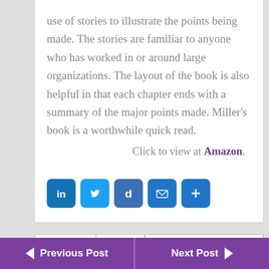use of stories to illustrate the points being made. The stories are familiar to anyone who has worked in or around large organizations. The layout of the book is also helpful in that each chapter ends with a summary of the major points made. Miller’s book is a worthwhile quick read.
Click to view at Amazon.
[Figure (other): Social sharing icons: LinkedIn, Twitter, Diigo, Email, Share (plus)]
BOOK REVIEW   BUSINESS   ORGANIZATIONAL DEVELOPMENT
Previous Post   Next Post